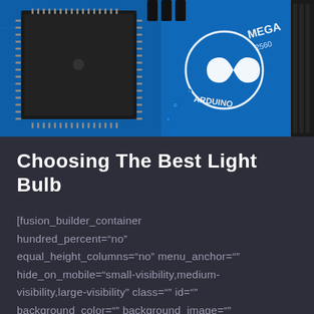[Figure (photo): Close-up photograph of an Arduino MEGA 2560 circuit board, showing a large microcontroller chip on a blue PCB with the Arduino logo (infinity symbol) and text 'ARDUINO MEGA 2560' visible. Black heat sink fins visible on right edge.]
Choosing The Best Light Bulb
[fusion_builder_container hundred_percent="no" equal_height_columns="no" menu_anchor="" hide_on_mobile="small-visibility,medium-visibility,large-visibility" class="" id="" background_color="" background_image="" background_position="center center" background_repeat="no-repeat" fad...